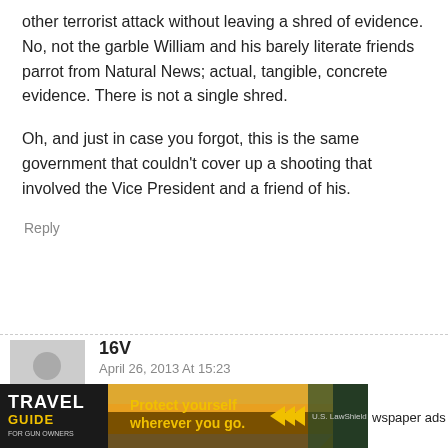other terrorist attack without leaving a shred of evidence. No, not the garble William and his barely literate friends parrot from Natural News; actual, tangible, concrete evidence. There is not a single shred.
Oh, and just in case you forgot, this is the same government that couldn't cover up a shooting that involved the Vice President and a friend of his.
Reply
16V
April 26, 2013 At 15:23
Everyone and their brother knew that there
[Figure (illustration): Travel Guide for Gun Owners advertisement banner with yellow arrows and US LawShield branding, text reads 'Protect yourself wherever you go.' and 'newspaper ads']